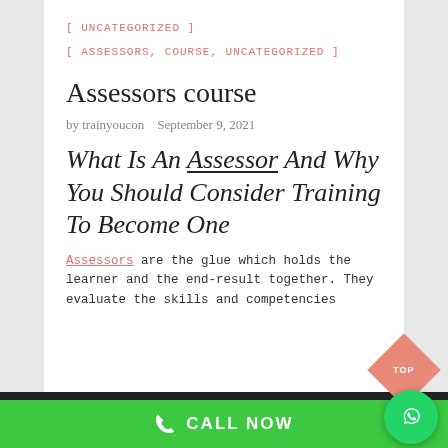[ UNCATEGORIZED ]
[ ASSESSORS, COURSE, UNCATEGORIZED ]
Assessors course
by trainyoucon   September 9, 2021
What Is An Assessor And Why You Should Consider Training To Become One
Assessors are the glue which holds the learner and the end-result together. They evaluate the skills and competencies
CALL NOW